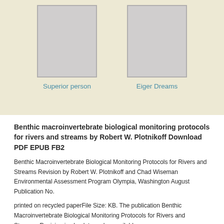[Figure (illustration): Book cover placeholder for 'Superior person' — grey rectangle]
Superior person
[Figure (illustration): Book cover placeholder for 'Eiger Dreams' — grey rectangle]
Eiger Dreams
Benthic macroinvertebrate biological monitoring protocols for rivers and streams by Robert W. Plotnikoff Download PDF EPUB FB2
Benthic Macroinvertebrate Biological Monitoring Protocols for Rivers and Streams Revision by Robert W. Plotnikoff and Chad Wiseman Environmental Assessment Program Olympia, Washington August Publication No.
printed on recycled paperFile Size: KB. The publication Benthic Macroinvertebrate Biological Monitoring Protocols for Rivers and Streams: Revision is obsolete and unavailable.